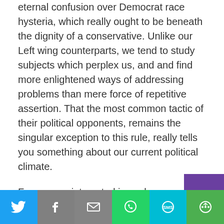eternal confusion over Democrat race hysteria, which really ought to be beneath the dignity of a conservative. Unlike our Left wing counterparts, we tend to study subjects which perplex us, and and find more enlightened ways of addressing problems than mere force of repetitive assertion. That the most common tactic of their political opponents, remains the singular exception to this rule, really tells you something about our current political climate.
For anyone interested in such enlightenment, I am happy to provide it, right now.
The Democrats are not lying when they call everyone Right of Ilhan Omar a White Supremacist. They are just speaking a different language than you. That is why they can say such seemingly ridiculous things to Ben Shapiro and Ben Carson, as easily as they can say them to me, without flinching
[Figure (infographic): Social media share bar with Twitter, Facebook, Email, WhatsApp, SMS, and More buttons]